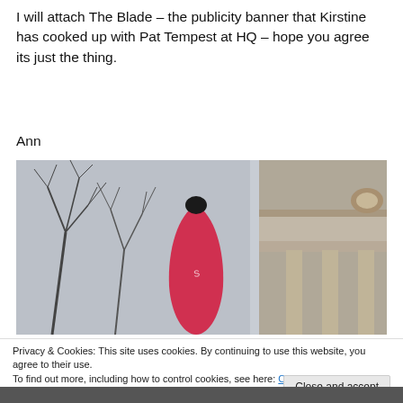I will attach The Blade – the publicity banner that Kirstine has cooked up with Pat Tempest at HQ – hope you agree its just the thing.
Ann
[Figure (photo): Outdoor photo showing bare winter trees against a pale grey sky on the left, and the stone cornice of a classical building on the right, with a tall teardrop-shaped red publicity banner (The Blade) in the centre foreground.]
Privacy & Cookies: This site uses cookies. By continuing to use this website, you agree to their use.
To find out more, including how to control cookies, see here: Cookie Policy
Close and accept